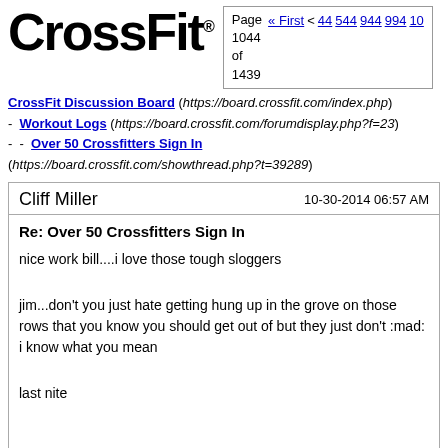CrossFit®
Page 1044 of 1439 « First < 44 544 944 994 10...
CrossFit Discussion Board (https://board.crossfit.com/index.php)
-  Workout Logs (https://board.crossfit.com/forumdisplay.php?f=23)
-   -  Over 50 Crossfitters Sign In (https://board.crossfit.com/showthread.php?t=39289)
Cliff Miller
10-30-2014 06:57 AM
Re: Over 50 Crossfitters Sign In
nice work bill....i love those tough sloggers
jim...don't you just hate getting hung up in the grove on those rows that you know you should get out of but they just don't :mad: i know what you mean
last nite
Specialty Bar Back Squat: 1RM saftey squat bar 350lbs
Back Squat: 5-5-5+ (65%-75%-85%) 200-240-270
calculated off a 0% of 1RM